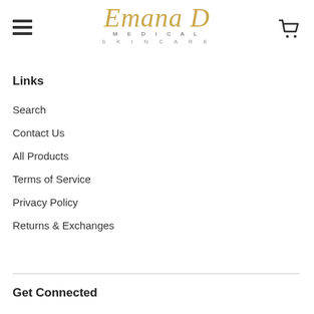Emana Medical Skincare — navigation header with hamburger menu and cart icon
Links
Search
Contact Us
All Products
Terms of Service
Privacy Policy
Returns & Exchanges
Get Connected